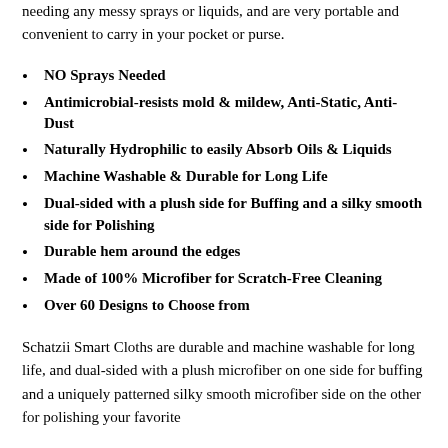needing any messy sprays or liquids, and are very portable and convenient to carry in your pocket or purse.
NO Sprays Needed
Antimicrobial-resists mold & mildew, Anti-Static, Anti-Dust
Naturally Hydrophilic to easily Absorb Oils & Liquids
Machine Washable & Durable for Long Life
Dual-sided with a plush side for Buffing and a silky smooth side for Polishing
Durable hem around the edges
Made of 100% Microfiber for Scratch-Free Cleaning
Over 60 Designs to Choose from
Schatzii Smart Cloths are durable and machine washable for long life, and dual-sided with a plush microfiber on one side for buffing and a uniquely patterned silky smooth microfiber side on the other for polishing your favorite Schatzii Smart Cloths are over 60 designs and choice in